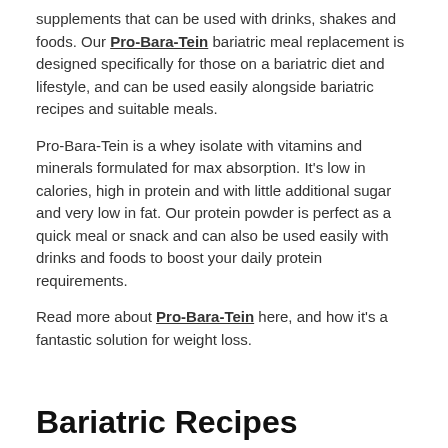supplements that can be used with drinks, shakes and foods. Our Pro-Bara-Tein bariatric meal replacement is designed specifically for those on a bariatric diet and lifestyle, and can be used easily alongside bariatric recipes and suitable meals.
Pro-Bara-Tein is a whey isolate with vitamins and minerals formulated for max absorption. It's low in calories, high in protein and with little additional sugar and very low in fat. Our protein powder is perfect as a quick meal or snack and can also be used easily with drinks and foods to boost your daily protein requirements.
Read more about Pro-Bara-Tein here, and how it's a fantastic solution for weight loss.
Bariatric Recipes
Read our list of some easy and nutritious bariatric recipes for breakfast, lunch and dinner.